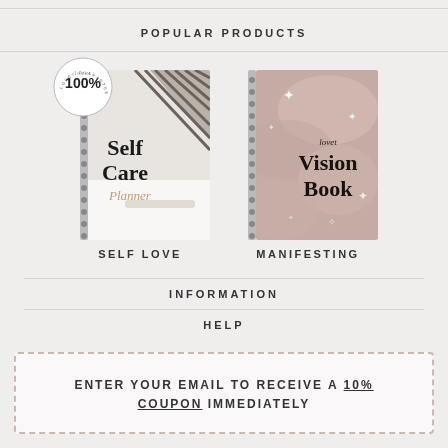POPULAR PRODUCTS
[Figure (photo): Self Care Planner spiral notebook with striped geometric cover and 100% Lovet Guaranteed badge]
[Figure (photo): Lovet Vision Book spiral notebook with rose gold sparkle cover]
SELF LOVE
MANIFESTING
INFORMATION
HELP
ENTER YOUR EMAIL TO RECEIVE A 10% COUPON IMMEDIATELY